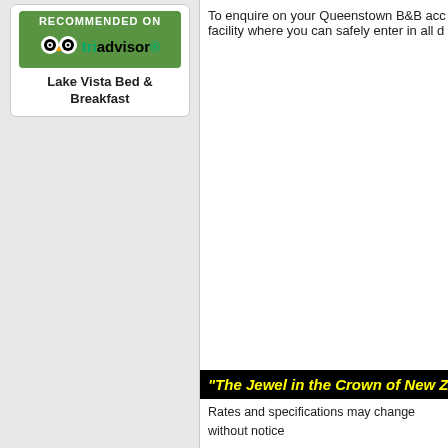[Figure (logo): TripAdvisor 'Recommended On' badge with green background, owl logo, and 'tripadvisor' text in green/black]
Lake Vista Bed & Breakfast
To enquire on your Queenstown B&B acc facility where you can safely enter in all d
"The Jewel in the Crown of New Zeala
Rates and specifications may change without notice
Lake Vista Bed & Breakfast 2003-2012© All rights r
62 Hensman Road Queenstown, 9300, New Zealan Phone +64 3 441-8838
Check out "tour of the house" and our "guest book", accommodation, in the most beautiful part of New Z
Combo Control Login - Sy